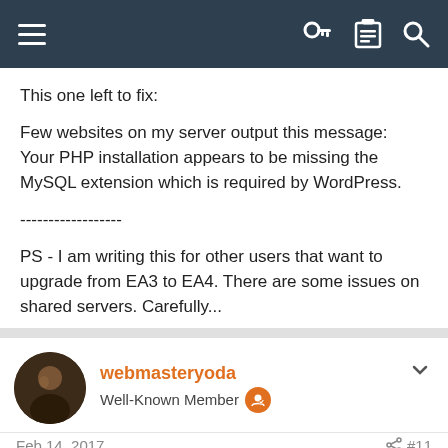Navigation bar with hamburger menu, key icon, list icon, search icon
This one left to fix:

Few websites on my server output this message:
Your PHP installation appears to be missing the MySQL extension which is required by WordPress.

------------------

PS - I am writing this for other users that want to upgrade from EA3 to EA4. There are some issues on shared servers. Carefully...
webmasteryoda
Well-Known Member
Feb 14, 2017  #11
Yes. That one is also fixed.